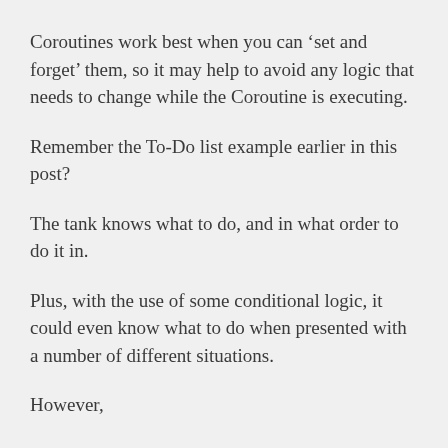Coroutines work best when you can ‘set and forget’ them, so it may help to avoid any logic that needs to change while the Coroutine is executing.
Remember the To-Do list example earlier in this post?
The tank knows what to do, and in what order to do it in.
Plus, with the use of some conditional logic, it could even know what to do when presented with a number of different situations.
However,